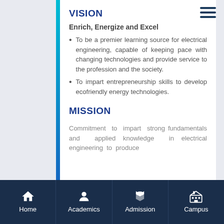VISION
Enrich, Energize and Excel
To be a premier learning source for electrical engineering, capable of keeping pace with changing technologies and provide service to the profession and the society.
To impart entrepreneurship skills to develop ecofriendly energy technologies.
MISSION
Commitment to impart strong fundamentals and applied knowledge in electrical engineering to produce
Home | Academics | Admission | Campus